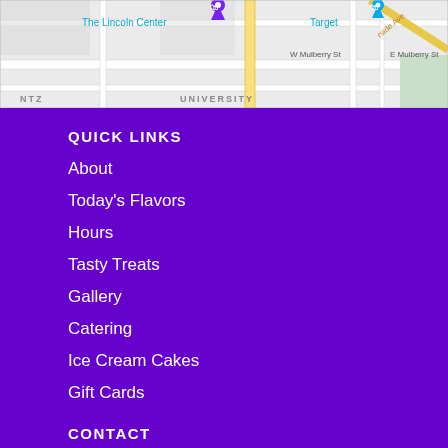[Figure (map): Google Maps screenshot showing The Lincoln Center, Target, W Mulberry St, E Mulberry St, and neighborhood area. Labels: NTZ, UNIVERSITY visible at bottom.]
QUICK LINKS
About
Today's Flavors
Hours
Tasty Treats
Gallery
Catering
Ice Cream Cakes
Gift Cards
CONTACT
125 W. Mountain Ave.,